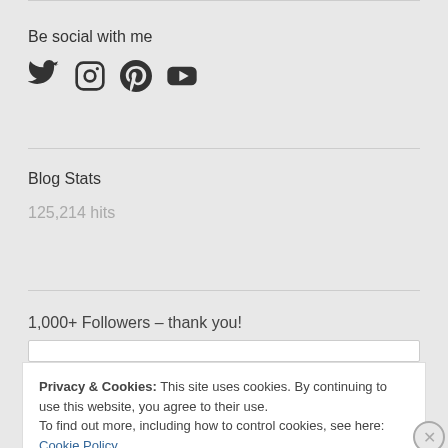Be social with me
[Figure (illustration): Social media icons: Twitter bird, Instagram camera, Pinterest P, YouTube play button]
Blog Stats
125,214 hits
1,000+ Followers – thank you!
Privacy & Cookies: This site uses cookies. By continuing to use this website, you agree to their use. To find out more, including how to control cookies, see here: Cookie Policy